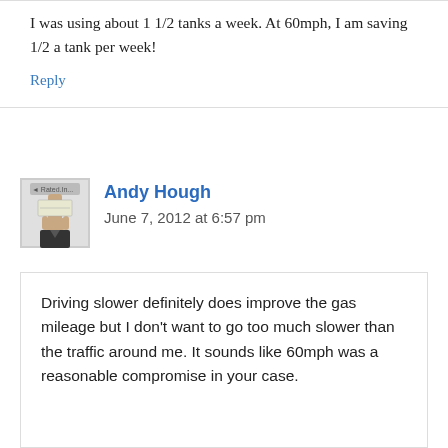I was using about 1 1/2 tanks a week. At 60mph, I am saving 1/2 a tank per week!
Reply
Andy Hough
June 7, 2012 at 6:57 pm
Driving slower definitely does improve the gas mileage but I don't want to go too much slower than the traffic around me. It sounds like 60mph was a reasonable compromise in your case.